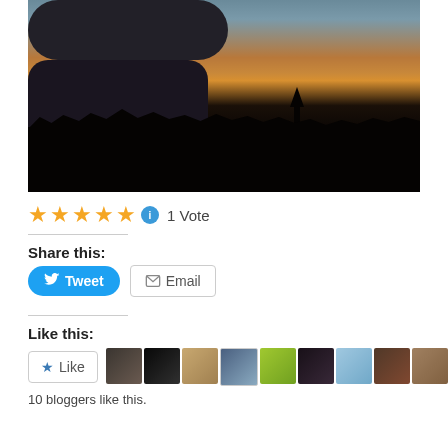[Figure (photo): Sunset cityscape silhouette photo with dark clouds, orange/red sky, rooftops and spire silhouetted against the sky, birds visible on rooftop]
★★★★★ ⓘ 1 Vote
Share this:
Tweet
Email
Like this:
Like
10 bloggers like this.